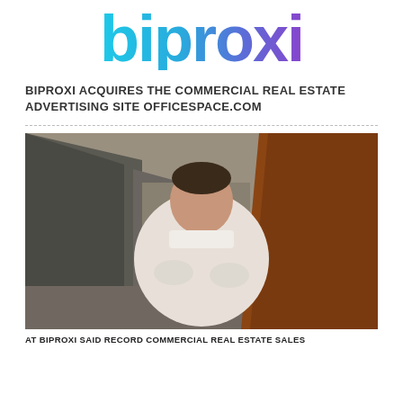[Figure (logo): Biproxi logo — stylized wordmark in gradient from teal/cyan to purple/violet]
BIPROXI ACQUIRES THE COMMERCIAL REAL ESTATE ADVERTISING SITE OFFICESPACE.COM
[Figure (photo): A man in a white dress shirt standing with arms crossed in an urban alley, with brick/red-brown wall background]
AT BIPROXI SAID RECORD COMMERCIAL REAL ESTATE SALES...